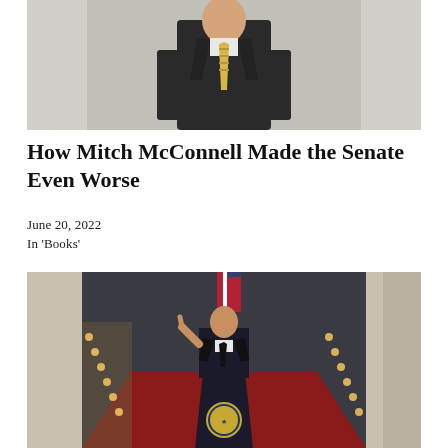[Figure (photo): An older man in a dark suit with a yellow striped tie walking in what appears to be a formal interior hallway.]
How Mitch McConnell Made the Senate Even Worse
June 20, 2022
In 'Books'
[Figure (photo): A man in a dark suit speaking at a podium with the Presidential seal, standing in a formal hallway with candles and a red carpet.]